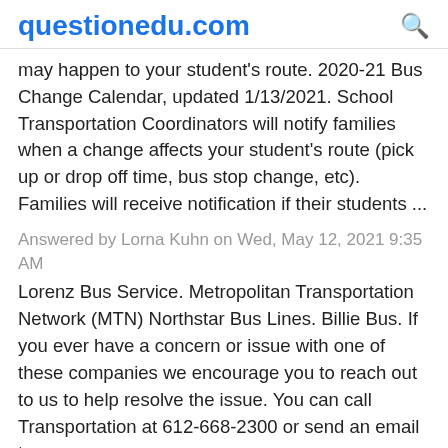questionedu.com
may happen to your student's route. 2020-21 Bus Change Calendar, updated 1/13/2021. School Transportation Coordinators will notify families when a change affects your student's route (pick up or drop off time, bus stop change, etc). Families will receive notification if their students ...
Answered by Lorna Kuhn on Wed, May 12, 2021 9:35 AM
Lorenz Bus Service. Metropolitan Transportation Network (MTN) Northstar Bus Lines. Billie Bus. If you ever have a concern or issue with one of these companies we encourage you to reach out to us to help resolve the issue. You can call Transportation at 612-668-2300 or send an email to Transportation@...